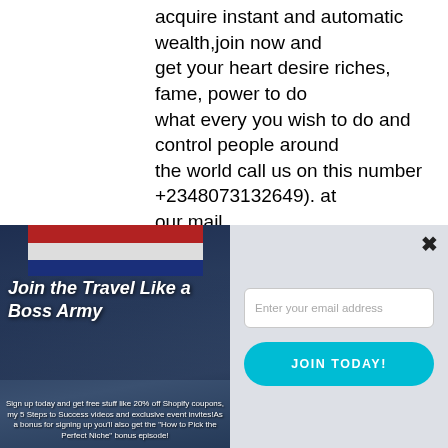acquire instant and automatic wealth,join now and get your heart desire riches, fame, power to do what every you wish to do and control people around the world call us on this number +2348073132649). at our mail (illuminatitemple654@gmail.com) join
[Figure (infographic): Email signup modal overlay with two panels: left panel shows a 'Join the Travel Like a Boss Army' advertisement with red/white/blue banner stripes, people jumping in martial arts uniforms, and promotional text; right panel has a close (x) button, email address input field, and a cyan 'JOIN TODAY!' button.]